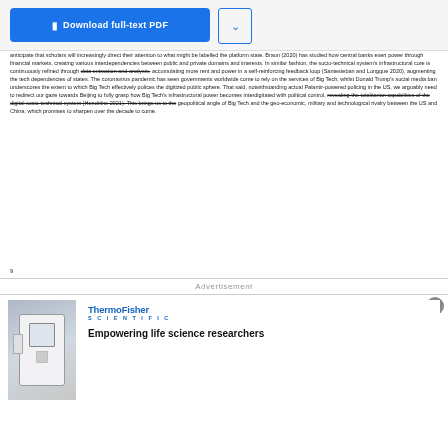anticipate that scholars will increasingly direct their attention to what might be labelled the platform state. Braun (2020) has studied how central banks exert power through financial markets, creating various interdependencies between public and private domains and interests. In similar fashion, the socio-technical system's infrastructural core is continuously refined through data extraction and analysis, accumulating more rent and power in a self-reinforcing feedback loop (Santesteban and Longque 2020), augmenting the tech dependencies of states. The coronavirus pandemic has seen governments worldwide come to rely on the services of Big Tech, whilst Donald Trump's social media ban underscores the extent to which Big Tech effectively polices the digitized public sphere. That said, notwithstanding actual Palantir-powered policing in the US, we arguably need to redirect our gaze towards Beijing to fully grasp how Big Tech's infrastructural power becomes interdigitated with political control, revealing the totalitarian capabilities of the digital socio-technical system (Hendrilne 2021). This brings us to the geopolitical angle of Big Tech and the geo-economic, military and technological rivalry between the US and China, which promises to sharpen over the decade to come.
9
Advertisement
[Figure (photo): ThermoFisher Scientific advertisement with lab instrument image and headline 'Empowering life science researchers']